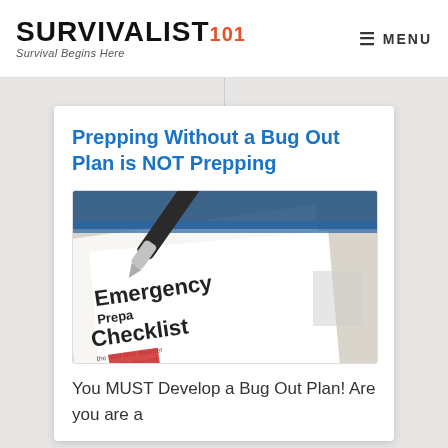SURVIVALIST101 — Survival Begins Here | MENU
Prepping Without a Bug Out Plan is NOT Prepping
[Figure (photo): Close-up photo of an Emergency Preparedness Checklist document with a pen resting on top. Text visible on the checklist includes 'Emergency Prepa...' and 'Checklist' and small print reading 'the next time disaster strikes you may not have much time to...']
You MUST Develop a Bug Out Plan! Are you are a